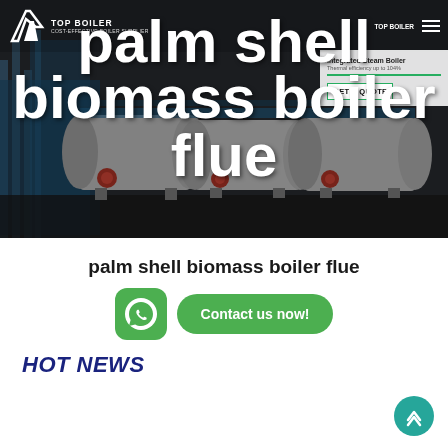[Figure (screenshot): Hero banner showing industrial boilers with navigation bar overlay. Dark background with boiler machinery.]
palm shell biomass boiler flue
TOP BOILER | COST-EFFECTIVE BOILER SUPPLIER
palm shell biomass boiler flue
Contact us now!
HOT NEWS